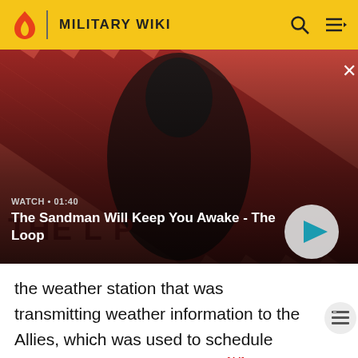MILITARY WIKI
[Figure (screenshot): Video banner showing a dark-cloaked figure with a raven on shoulder against a red diagonal striped background. Overlay shows 'WATCH • 01:40' and title 'The Sandman Will Keep You Awake - The Loop' with a play button.]
WATCH • 01:40
The Sandman Will Keep You Awake - The Loop
the weather station that was transmitting weather information to the Allies, which was used to schedule convoys to the Soviet Union.[44] The destroyers landed some 1,000 troops, which pushed the Norwegian garrison into the mountains, completing the mission without major